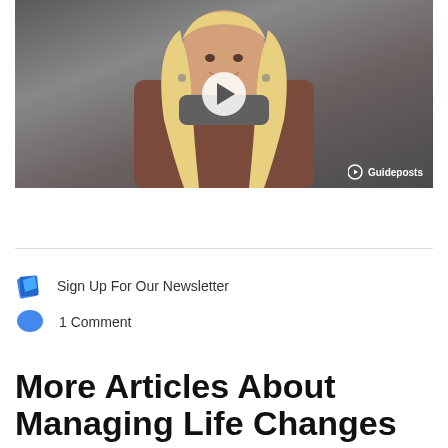[Figure (photo): Video thumbnail showing a smiling blonde woman with a white play button overlay and Guideposts logo in bottom right]
Sign Up For Our Newsletter
1 Comment
More Articles About Managing Life Changes